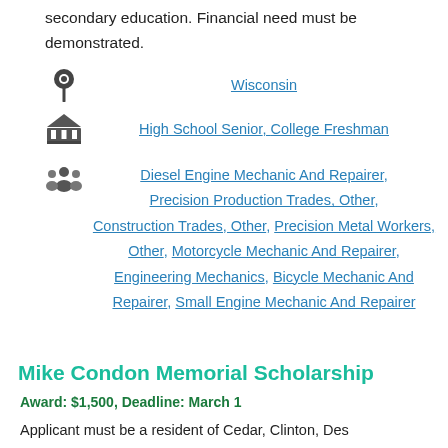secondary education. Financial need must be demonstrated.
Wisconsin
High School Senior, College Freshman
Diesel Engine Mechanic And Repairer, Precision Production Trades, Other, Construction Trades, Other, Precision Metal Workers, Other, Motorcycle Mechanic And Repairer, Engineering Mechanics, Bicycle Mechanic And Repairer, Small Engine Mechanic And Repairer
Mike Condon Memorial Scholarship
Award: $1,500, Deadline: March 1
Applicant must be a resident of Cedar, Clinton, Des